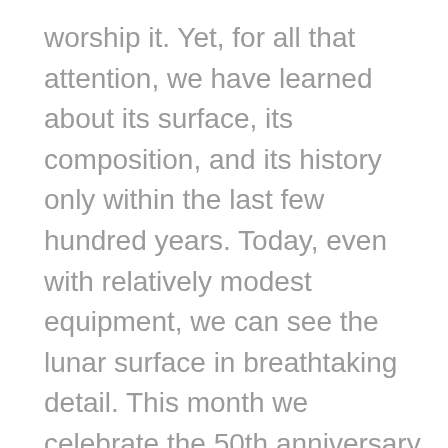worship it. Yet, for all that attention, we have learned about its surface, its composition, and its history only within the last few hundred years. Today, even with relatively modest equipment, we can see the lunar surface in breathtaking detail. This month we celebrate the 50th anniversary of the Apollo 11 landing, with four images of the moon.